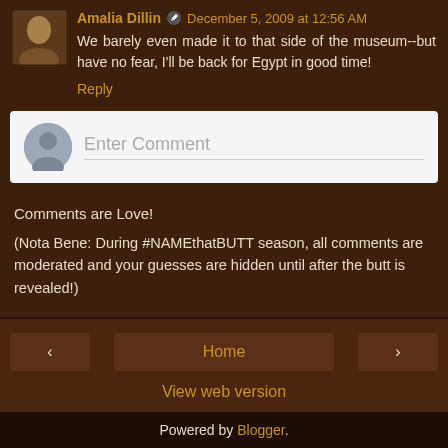Amalia Dillin ✏ December 5, 2009 at 12:56 AM
We barely even made it to that side of the museum--but have no fear, I'll be back for Egypt in good time!
Reply
[Figure (other): Comment input box with user avatar placeholder and 'Enter Comment' placeholder text]
Comments are Love!
(Nota Bene: During #NAMEthatBUTT season, all comments are moderated and your guesses are hidden until after the butt is revealed!)
< Home > View web version
Powered by Blogger.